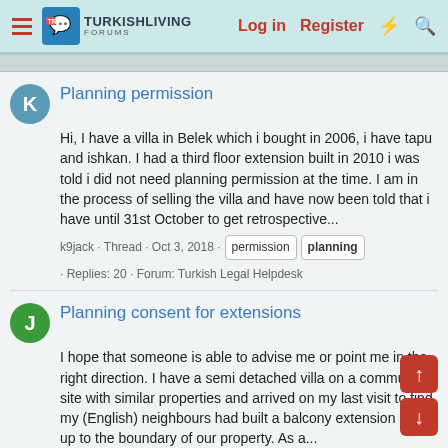TurkishLiving Forums — Log in | Register
Planning permission
Hi, I have a villa in Belek which i bought in 2006, i have tapu and ishkan. I had a third floor extension built in 2010 i was told i did not need planning permission at the time. I am in the process of selling the villa and have now been told that i have until 31st October to get retrospective...
k9jack · Thread · Oct 3, 2018 · permission planning · Replies: 20 · Forum: Turkish Legal Helpdesk
Planning consent for extensions
I hope that someone is able to advise me or point me in the right direction. I have a semi detached villa on a communal site with similar properties and arrived on my last visit to find my (English) neighbours had built a balcony extension right up to the boundary of our property. As a...
jacbartat · Thread · Jun 16, 2017 · consent extensions planning · Replies: 5 · Forum: Turkish Legal Helpdesk